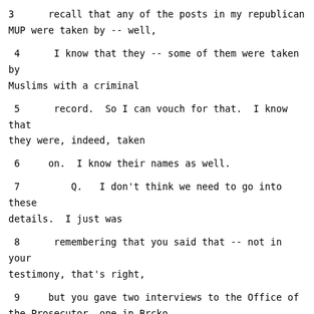3      recall that any of the posts in my republican MUP were taken by -- well,
4      I know that they -- some of them were taken by Muslims with a criminal
5      record.  So I can vouch for that.  I know that they were, indeed, taken
6      on.  I know their names as well.
7          Q.   I don't think we need to go into these details.  I just was
8      remembering that you said that -- not in your testimony, that's right,
9      but you gave two interviews to the Office of the Prosecutor, one in Brcko